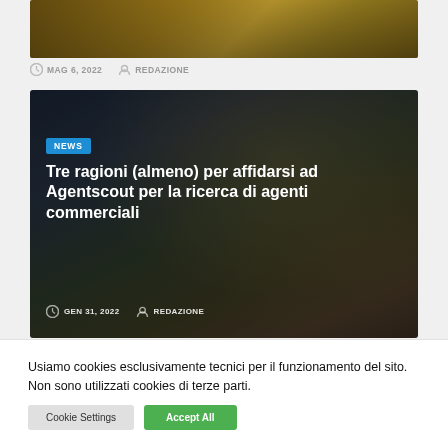[Figure (photo): Close-up of golden keys on a dark background]
MAG 6, 2022   REDAZIONE
[Figure (photo): Keys and keychain on a signed document, dark background with overlay]
NEWS
Tre ragioni (almeno) per affidarsi ad Agentscout per la ricerca di agenti commerciali
GEN 31, 2022   REDAZIONE
Usiamo cookies esclusivamente tecnici per il funzionamento del sito. Non sono utilizzati cookies di terze parti.
Cookie Settings   Accept All